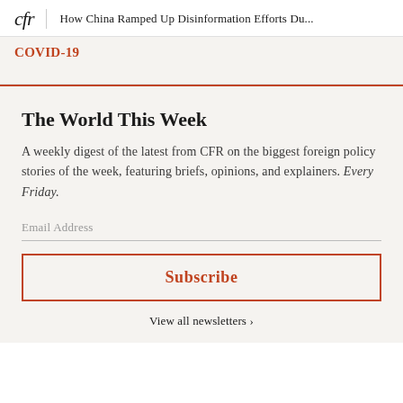cfr | How China Ramped Up Disinformation Efforts Du...
COVID-19
The World This Week
A weekly digest of the latest from CFR on the biggest foreign policy stories of the week, featuring briefs, opinions, and explainers. Every Friday.
Email Address
Subscribe
View all newsletters >